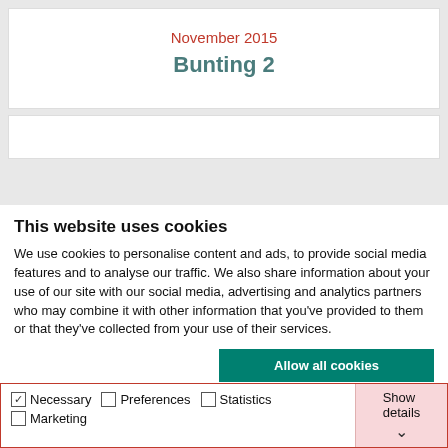November 2015
Bunting 2
This website uses cookies
We use cookies to personalise content and ads, to provide social media features and to analyse our traffic. We also share information about your use of our site with our social media, advertising and analytics partners who may combine it with other information that you've provided to them or that they've collected from your use of their services.
Allow all cookies
Allow selection
Use necessary cookies only
Necessary  Preferences  Statistics  Marketing  Show details